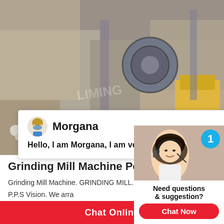[Figure (photo): Industrial grinding mill machine site with heavy equipment, pipes, and rubble in an outdoor construction/industrial setting.]
Morgana
Hello, I am Morgana, I am very glad to talk with you!
Grinding Mill Machine Powerland P
Grinding Mill Machine. GRINDING MILL. Grinding Mill Machine; P.P.S Vision. We arrange the design. We arrange the budget. ... Solution is a professional agent of top main s
[Figure (photo): Live chat widget showing a female customer service agent wearing a headset, with a blue badge showing number 1, and a 'Need questions & suggestion? Chat Now' button.]
Chat Online